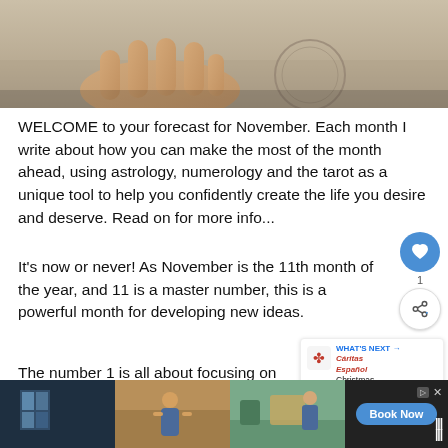[Figure (photo): Close-up photo of hands, appears to show someone's hands on a surface, cropped at top of page]
WELCOME to your forecast for November. Each month I write about how you can make the most of the month ahead, using astrology, numerology and the tarot as a unique tool to help you confidently create the life you desire and deserve. Read on for more info...
It's now or never! As November is the 11th month of the year, and 11 is a master number, this is a powerful month for developing new ideas.
The number 1 is all about focusing on what you so concentrate on what you want to attract more of into